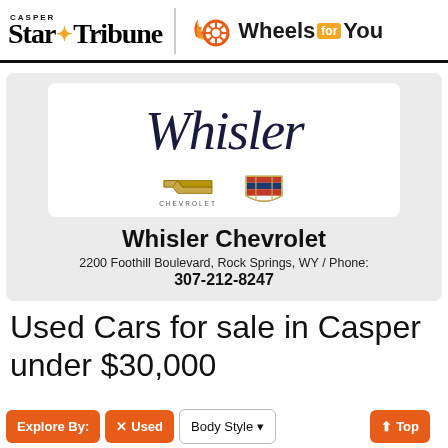CASPER Star Tribune | Wheels FOR You
[Figure (logo): Whisler Chevrolet dealer logo with script Whisler text, Chevrolet bowtie logo, and Cadillac crest logo]
Whisler Chevrolet
2200 Foothill Boulevard, Rock Springs, WY / Phone: 307-212-8247
Used Cars for sale in Casper under $30,000
Explore By:
✕ Used
Body Style ▾
⬆ Top